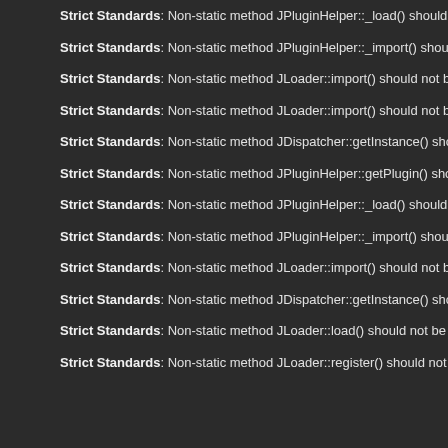Strict Standards: Non-static method JPluginHelper::_load() should not be called statically in /u
Strict Standards: Non-static method JPluginHelper::_import() should not be called statically in
Strict Standards: Non-static method JLoader::import() should not be called statically in /usr/w
Strict Standards: Non-static method JLoader::import() should not be called statically in /usr/w
Strict Standards: Non-static method JDispatcher::getInstance() should not be called statically i
Strict Standards: Non-static method JPluginHelper::getPlugin() should not be called statically
Strict Standards: Non-static method JPluginHelper::_load() should not be called statically in /u
Strict Standards: Non-static method JPluginHelper::_import() should not be called statically i
Strict Standards: Non-static method JLoader::import() should not be called statically in /usr/w
Strict Standards: Non-static method JDispatcher::getInstance() should not be called statically i
Strict Standards: Non-static method JLoader::load() should not be called statically in /usr/www
Strict Standards: Non-static method JLoader::register() should not be called statically in /usr/w